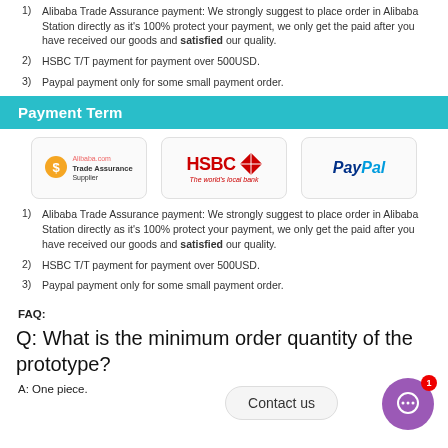1) Alibaba Trade Assurance payment: We strongly suggest to place order in Alibaba Station directly as it's 100% protect your payment, we only get the paid after you have received our goods and satisfied our quality.
2) HSBC T/T payment for payment over 500USD.
3) Paypal payment only for some small payment order.
Payment Term
[Figure (logo): Three payment logos: Alibaba.com Trade Assurance Supplier, HSBC The world's local bank, PayPal]
1) Alibaba Trade Assurance payment: We strongly suggest to place order in Alibaba Station directly as it's 100% protect your payment, we only get the paid after you have received our goods and satisfied our quality.
2) HSBC T/T payment for payment over 500USD.
3) Paypal payment only for some small payment order.
FAQ:
Q: What is the minimum order quantity of the prototype?
A: One piece.